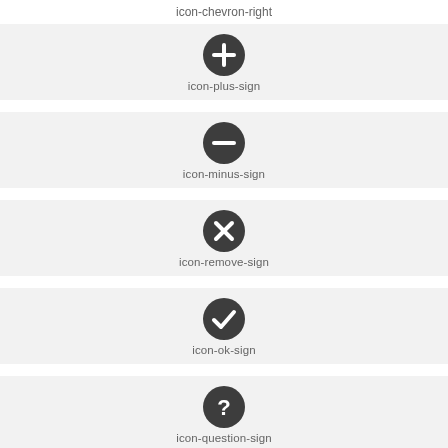icon-chevron-right
[Figure (illustration): Dark circle with white plus sign, labeled icon-plus-sign]
[Figure (illustration): Dark circle with white minus sign, labeled icon-minus-sign]
[Figure (illustration): Dark circle with white X sign, labeled icon-remove-sign]
[Figure (illustration): Dark circle with white checkmark, labeled icon-ok-sign]
[Figure (illustration): Dark circle with white question mark, labeled icon-question-sign]